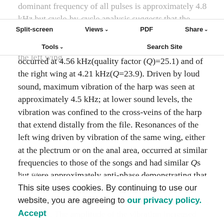dominant frequency of all pulses is approximately 4.8 kHz but cycle-by-cycle analysis suggests that the different types of pulse are produced by wing-closing movements through different arcs. Free resonances of the left wing occurred at 4.56 kHz(quality factor (Q)=25.1) and of the right wing at 4.21 kHz(Q=23.9). Driven by loud sound, maximum vibration of the harp was seen at approximately 4.5 kHz; at lower sound levels, the vibration was confined to the cross-veins of the harp that extend distally from the file. Resonances of the left wing driven by vibration of the same wing, either at the plectrum or on the anal area, occurred at similar frequencies to those of the songs and had similar Qs but were approximately anti-phase,demonstrating that movement of the plectrum (e.g. by the file teeth) causes an opposite movement of the
Split-screen | Views | PDF | Share | Tools | Search Site
the file. ...driven on ...via a length of the left file and the left plectrum, it was 4.83 kHz. The amplitude of the vibration increased
This site uses cookies. By continuing to use our website, you are agreeing to our privacy policy. Accept